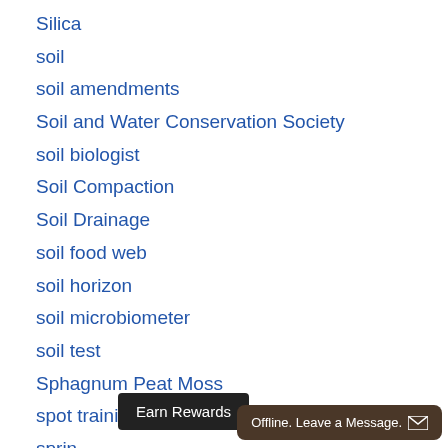Silica
soil
soil amendments
Soil and Water Conservation Society
soil biologist
Soil Compaction
Soil Drainage
soil food web
soil horizon
soil microbiometer
soil test
Sphagnum Peat Moss
spot training
sprin...
sprin...